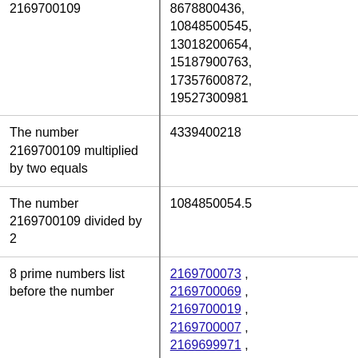| 2169700109 | 8678800436, 10848500545, 13018200654, 15187900763, 17357600872, 19527300981 |
| The number 2169700109 multiplied by two equals | 4339400218 |
| The number 2169700109 divided by 2 | 1084850054.5 |
| 8 prime numbers list before the number | 2169700073, 2169700069, 2169700019, 2169700007, 2169699971, 2169699967 |